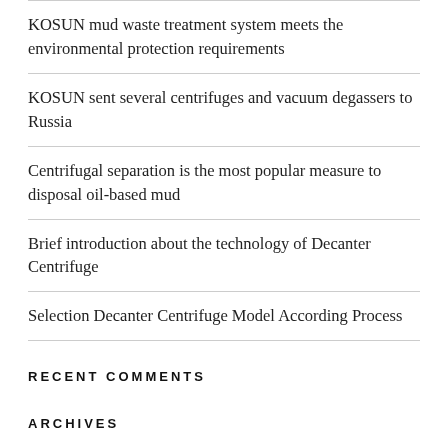KOSUN mud waste treatment system meets the environmental protection requirements
KOSUN sent several centrifuges and vacuum degassers to Russia
Centrifugal separation is the most popular measure to disposal oil-based mud
Brief introduction about the technology of Decanter Centrifuge
Selection Decanter Centrifuge Model According Process
RECENT COMMENTS
ARCHIVES